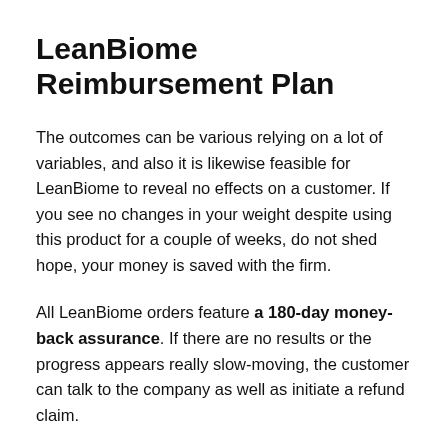LeanBiome Reimbursement Plan
The outcomes can be various relying on a lot of variables, and also it is likewise feasible for LeanBiome to reveal no effects on a customer. If you see no changes in your weight despite using this product for a couple of weeks, do not shed hope, your money is saved with the firm.
All LeanBiome orders feature a 180-day money-back assurance. If there are no results or the progress appears really slow-moving, the customer can talk to the company as well as initiate a refund claim.